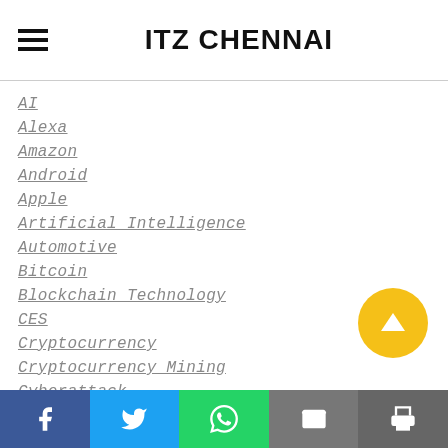ITZ CHENNAI
AI
Alexa
Amazon
Android
Apple
Artificial Intelligence
Automotive
Bitcoin
Blockchain Technology
CES
Cryptocurrency
Cryptocurrency Mining
Cyberattack
Cybersecurity
Digital Payments
Facebook